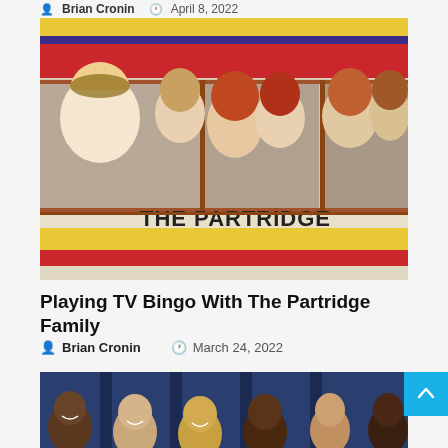Brian Cronin  April 8, 2022
[Figure (photo): Cast of The Partridge Family leaning out of windows of their colorful bus with 'THE PARTRIDGE' visible on the side]
Playing TV Bingo With The Partridge Family
Brian Cronin  March 24, 2022
[Figure (photo): Group photo of people smiling, shown partially at bottom of page]